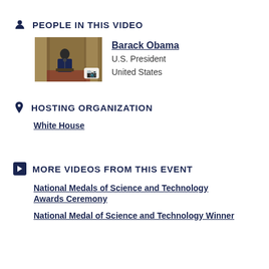PEOPLE IN THIS VIDEO
[Figure (photo): Thumbnail of Barack Obama speaking at a podium in a formal setting with a camera icon overlay]
Barack Obama
U.S. President
United States
HOSTING ORGANIZATION
White House
MORE VIDEOS FROM THIS EVENT
National Medals of Science and Technology Awards Ceremony
National Medal of Science and Technology Winner